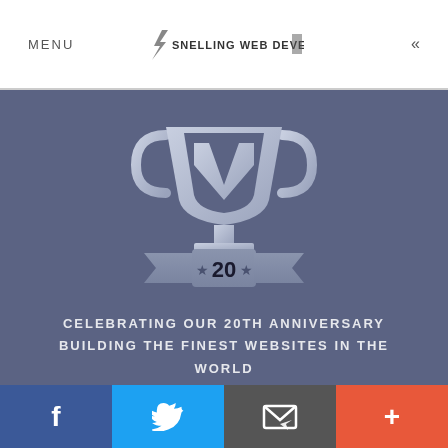MENU  SNELLING WEB DEVELOPMENT  «
[Figure (illustration): Trophy cup icon with a banner ribbon showing the number 20, with stars on each side of the number, rendered in silver/grey tones on a blue-grey background]
CELEBRATING OUR 20TH ANNIVERSARY BUILDING THE FINEST WEBSITES IN THE WORLD
f  [Twitter bird]  [Email icon]  +